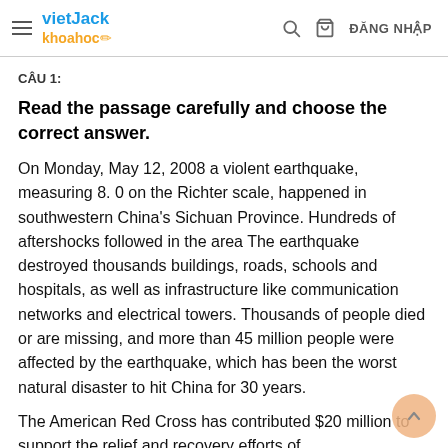vietJack khoahoc / ĐĂNG NHẬP
CÂU 1:
Read the passage carefully and choose the correct answer.
On Monday, May 12, 2008 a violent earthquake, measuring 8. 0 on the Richter scale, happened in southwestern China's Sichuan Province. Hundreds of aftershocks followed in the area The earthquake destroyed thousands buildings, roads, schools and hospitals, as well as infrastructure like communication networks and electrical towers. Thousands of people died or are missing, and more than 45 million people were affected by the earthquake, which has been the worst natural disaster to hit China for 30 years.
The American Red Cross has contributed $20 million to support the relief and recovery efforts of